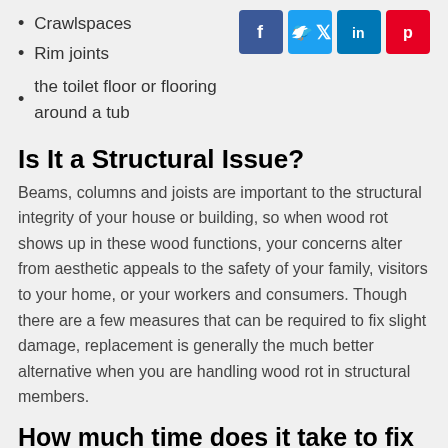Crawlspaces
Rim joints
the toilet floor or flooring around a tub
[Figure (logo): Social media share icons: Facebook (blue), Twitter (light blue), LinkedIn (blue), Pinterest (red)]
Is It a Structural Issue?
Beams, columns and joists are important to the structural integrity of your house or building, so when wood rot shows up in these wood functions, your concerns alter from aesthetic appeals to the safety of your family, visitors to your home, or your workers and consumers. Though there are a few measures that can be required to fix slight damage, replacement is generally the much better alternative when you are handling wood rot in structural members.
How much time does it take to fix wood rot?
You might be shocked at how quickly a professional carpenter